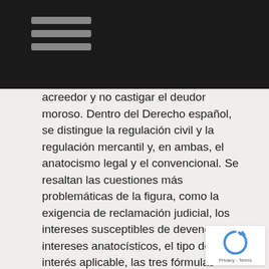acreedor y no castigar el deudor moroso. Dentro del Derecho español, se distingue la regulación civil y la regulación mercantil y, en ambas, el anatocismo legal y el convencional. Se resaltan las cuestiones más problemáticas de la figura, como la exigencia de reclamación judicial, los intereses susceptibles de devengar intereses anatocísticos, el tipo de interés aplicable, las tres fórmulas anatocísticas y el requisito de que se trate de intereses vencidos. A continuación, tras la exposición de la regulación en el Draft Common Frame of Reference se elaboran una serie de conclusiones comparativas para